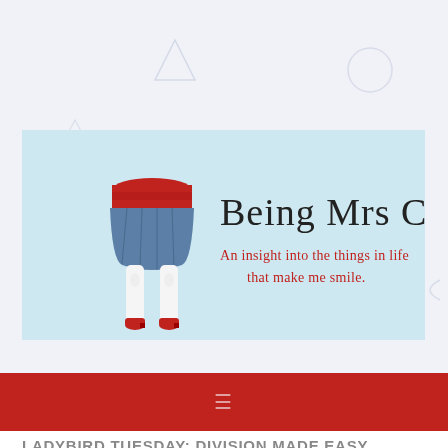[Figure (illustration): Blog header banner for 'Being Mrs C' blog. Light blue background with an illustration of a woman's legs in a red and blue skirt with white tights and red heels. Blog title 'Being Mrs C' in large handwritten-style black font. Subtitle in red cursive: 'An insight into the things in life that make me smile.']
LADYBIRD TUESDAY: DIVISION MADE EASY